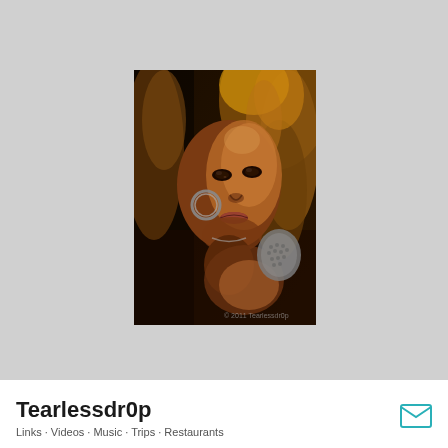[Figure (photo): Portrait photograph of a young woman with curly auburn/golden hair, dark skin, wearing a silver hoop earring and a decorative silver shoulder piece, photographed against a dark background with warm studio lighting.]
Tearlessdr0p
Links · Videos · Music · Trips · Restaurants